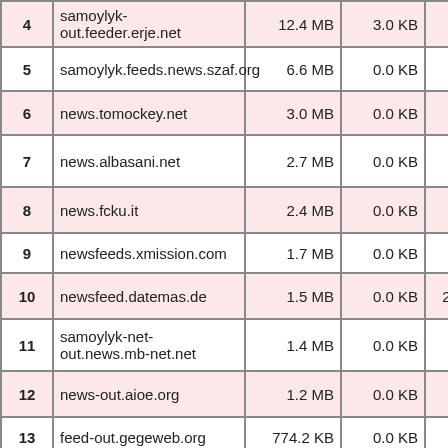| # | Host | Col3 | Col4 | Col5 |
| --- | --- | --- | --- | --- |
| 4 | samoylyk-out.feeder.erje.net | 12.4 MB | 3.0 KB | KB |
| 5 | samoylyk.feeds.news.szaf.org | 6.6 MB | 0.0 KB | 9.1 KB |
| 6 | news.tomockey.net | 3.0 MB | 0.0 KB | 0.0 KB |
| 7 | news.albasani.net | 2.7 MB | 0.0 KB | 10.7 KB |
| 8 | news.fcku.it | 2.4 MB | 0.0 KB | 76.6 KB |
| 9 | newsfeeds.xmission.com | 1.7 MB | 0.0 KB | 0.0 KB |
| 10 | newsfeed.datemas.de | 1.5 MB | 0.0 KB | 218.7 KB |
| 11 | samoylyk-net-out.news.mb-net.net | 1.4 MB | 0.0 KB | 69.9 KB |
| 12 | news-out.aioe.org | 1.2 MB | 0.0 KB | 23.0 KB |
| 13 | feed-out.gegeweb.org | 774.2 KB | 0.0 KB | 0.0 KB |
| 14 | news.swapon.de | 725.0 KB | 0.0 KB | 0.0 KB |
| 15 | news.redatomik.org | 495.0 KB | 0.0 KB | 0.0 KB |